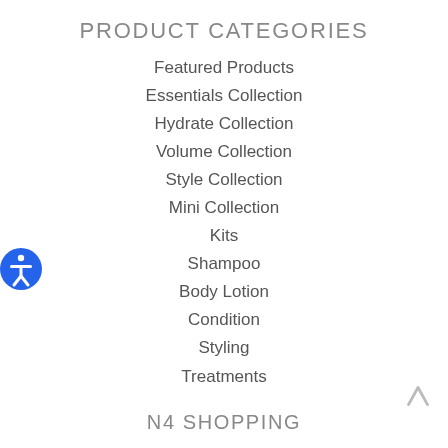PRODUCT CATEGORIES
Featured Products
Essentials Collection
Hydrate Collection
Volume Collection
Style Collection
Mini Collection
Kits
Shampoo
Body Lotion
Condition
Styling
Treatments
N4 SHOPPING
Become a Professional
Professional Login
My Account